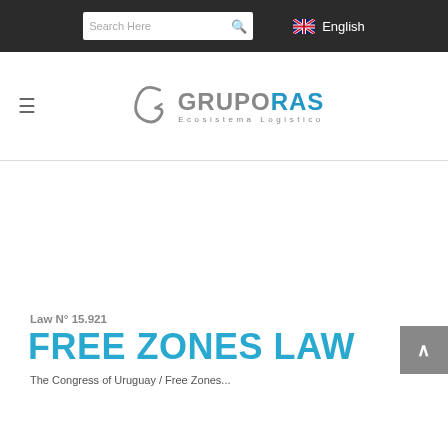Search Here | English
[Figure (logo): Grupo RAS Ecosistema Logistico logo with stylized G icon]
Law N° 15.921
FREE ZONES LAW
The Congress of Uruguay / Free Zones...